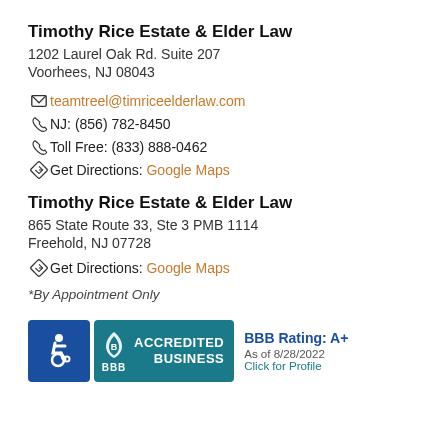Timothy Rice Estate & Elder Law
1202 Laurel Oak Rd. Suite 207
Voorhees, NJ 08043
teamtreel@timriceelderlaw.com
NJ: (856) 782-8450
Toll Free: (833) 888-0462
Get Directions: Google Maps
Timothy Rice Estate & Elder Law
865 State Route 33, Ste 3 PMB 1114
Freehold, NJ 07728
Get Directions: Google Maps
*By Appointment Only
[Figure (logo): ADA accessibility icon badge (blue), BBB Accredited Business badge (teal), and BBB Rating A+ as of 8/28/2022, Click for Profile]